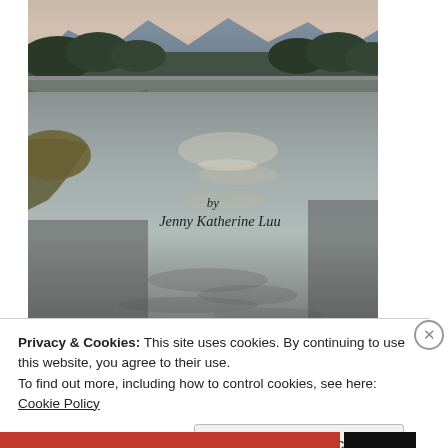[Figure (photo): Photograph of a river scene at dusk with a concrete arch bridge in the middle ground, dense forest and mountains in the background, and a calm reflective river in the foreground with ripples. Trees with autumn foliage on the left bank. Overlaid text reads 'by Jenny Katherine Luu' in italic serif font.]
Privacy & Cookies: This site uses cookies. By continuing to use this website, you agree to their use.
To find out more, including how to control cookies, see here: Cookie Policy
Close and accept